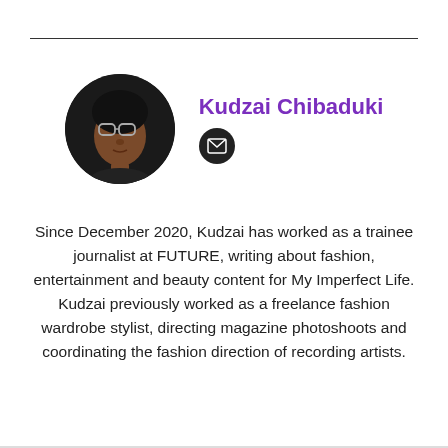[Figure (photo): Circular profile photo of Kudzai Chibaduki, a woman wearing glasses, dark background]
Kudzai Chibaduki
[Figure (other): Black circular email icon with envelope symbol]
Since December 2020, Kudzai has worked as a trainee journalist at FUTURE, writing about fashion, entertainment and beauty content for My Imperfect Life. Kudzai previously worked as a freelance fashion wardrobe stylist, directing magazine photoshoots and coordinating the fashion direction of recording artists.